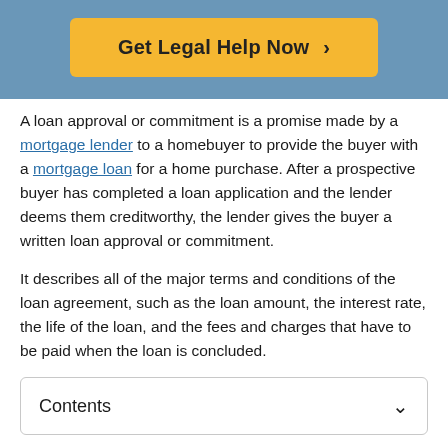[Figure (other): Orange/yellow 'Get Legal Help Now >' call-to-action button on a steel-blue banner background]
A loan approval or commitment is a promise made by a mortgage lender to a homebuyer to provide the buyer with a mortgage loan for a home purchase. After a prospective buyer has completed a loan application and the lender deems them creditworthy, the lender gives the buyer a written loan approval or commitment.
It describes all of the major terms and conditions of the loan agreement, such as the loan amount, the interest rate, the life of the loan, and the fees and charges that have to be paid when the loan is concluded.
Contents